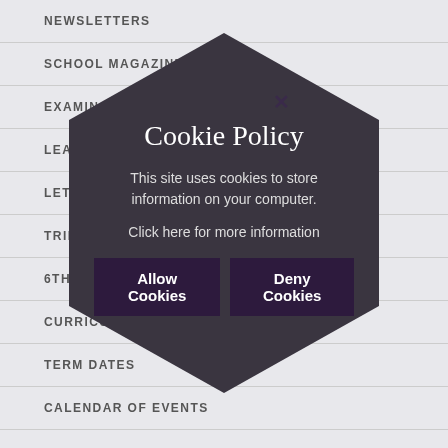NEWSLETTERS
SCHOOL MAGAZINE
EXAMINATION NEWS
LEAGUE NEWS
LETTERS
TRIPS & VISITS LETTERS
6TH FORM
CURRICULUM NEWS
TERM DATES
CALENDAR OF EVENTS
[Figure (infographic): Cookie consent popup modal shaped as a hexagon with dark background. Contains title 'Cookie Policy', body text 'This site uses cookies to store information on your computer.', a link 'Click here for more information', and two buttons: 'Allow Cookies' and 'Deny Cookies'. A close X button is visible at the top right.]
Cookie Policy
This site uses cookies to store information on your computer.
Click here for more information
Allow Cookies
Deny Cookies